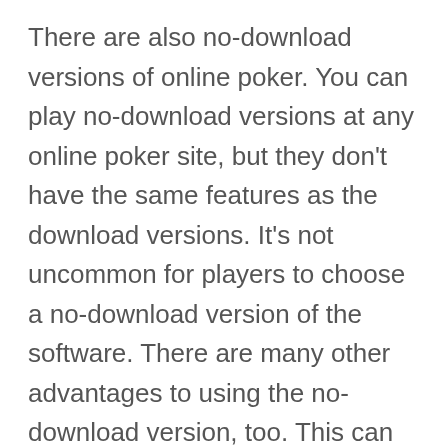There are also no-download versions of online poker. You can play no-download versions at any online poker site, but they don't have the same features as the download versions. It's not uncommon for players to choose a no-download version of the software. There are many other advantages to using the no-download version, too. This can be the most practical option for many people. A no-download version is free to download and doesn't require any additional memory.
As far as legality goes, online poker is legal in most states. There are no licensing